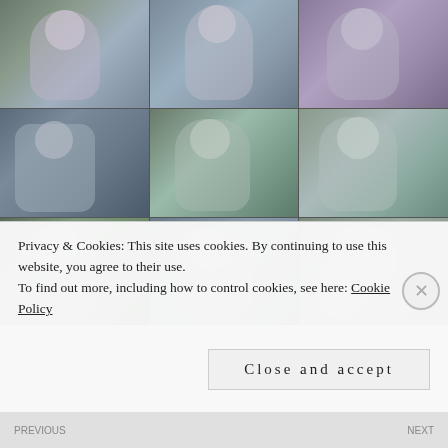[Figure (photo): A 3x3 grid of nine photographs showing people outdoors in a wooded setting. The photos appear to be video stills or sequential shots showing individuals in casual clothing among trees.]
Privacy & Cookies: This site uses cookies. By continuing to use this website, you agree to their use.
To find out more, including how to control cookies, see here: Cookie Policy
Close and accept
← PREVIOUS  |  NEXT →